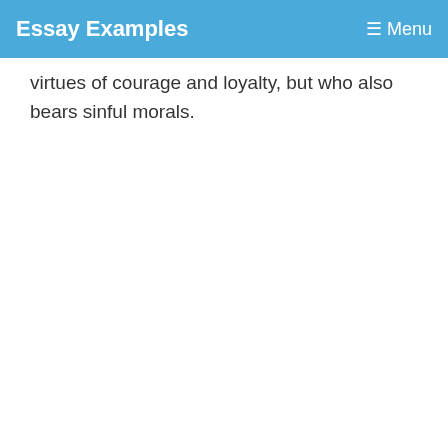Essay Examples  ☰ Menu
virtues of courage and loyalty, but who also bears sinful morals.